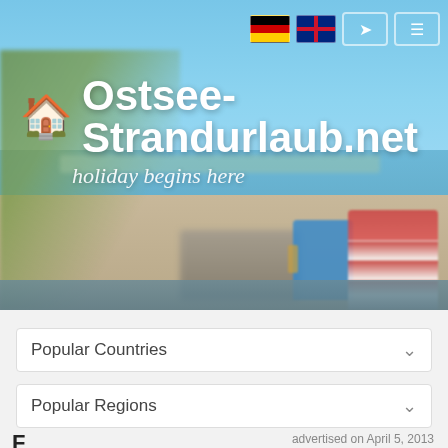[Figure (screenshot): Header banner of Ostsee-Strandurlaub.net website showing a beach scene with blue sky, sand dunes, grass, and beach chairs on the right. Navigation icons including German and UK flags are in the top right corner.]
Ostsee-Strandurlaub.net
holiday begins here
Popular Countries
Popular Regions
advertised on April 5, 2013